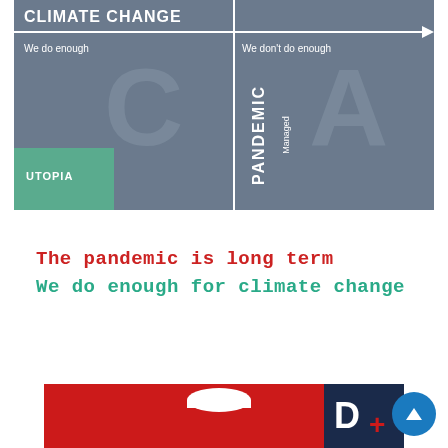[Figure (infographic): A 2x2 matrix diagram with axes: horizontal axis labeled CLIMATE CHANGE (We do enough on left, We don't do enough on right), vertical axis labeled PANDEMIC (Managed). The four quadrants show large letters C (top-left), A (top-right), and a green UTOPIA label in bottom-left. Background is slate grey.]
The pandemic is long term
We do enough for climate change
[Figure (photo): Partial view of a red product card/package with a white hanger hole at top center and a dark navy corner element with letter D visible, partially cropped at bottom of page.]